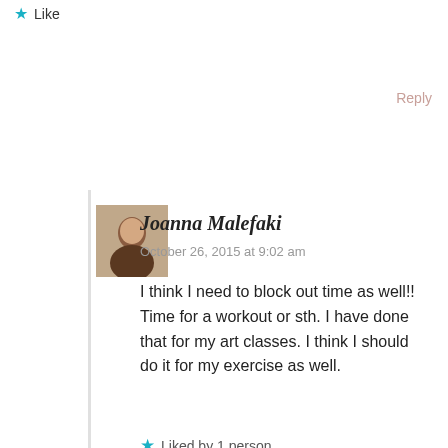★ Like
Reply
Joanna Malefaki
October 26, 2015 at 9:02 am
I think I need to block out time as well!! Time for a workout or sth. I have done that for my art classes. I think I should do it for my exercise as well.
★ Liked by 1 person
Reply
Advertisements
[Figure (infographic): Dark advertisement banner for launching online course with WordPress, with teal text and Learn More button]